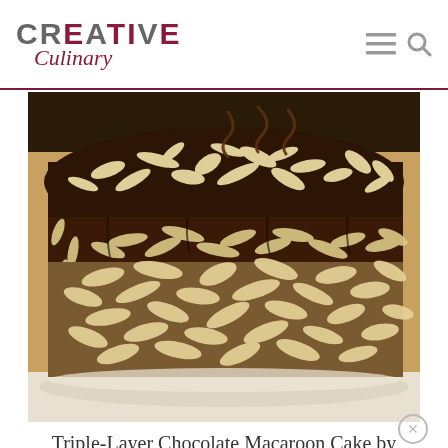CREATIVE Culinary
[Figure (photo): Close-up photograph of a Triple-Layer Chocolate Macaroon Cake covered with toasted coconut flakes and dark chocolate ganache, with chocolate curls on top]
Triple-Layer Chocolate Macaroon Cake by François Payard